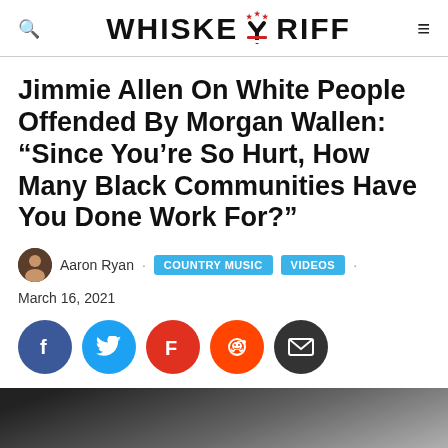WHISKEY RIFF
Jimmie Allen On White People Offended By Morgan Wallen: “Since You’re So Hurt, How Many Black Communities Have You Done Work For?”
Aaron Ryan · COUNTRY MUSIC · VIDEOS · March 16, 2021
[Figure (other): Social sharing buttons: Facebook, Twitter, Flipboard, Reddit, Email]
[Figure (photo): Partial photo of two people visible at the bottom of the page, dark background]